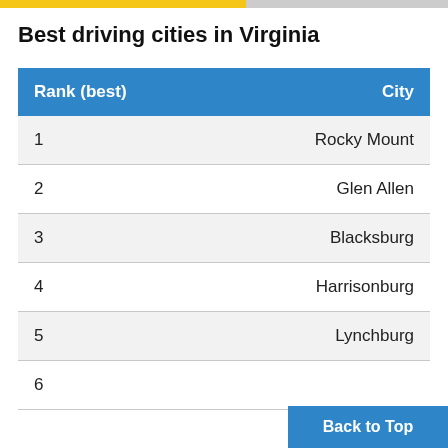Best driving cities in Virginia
| Rank (best) | City |
| --- | --- |
| 1 | Rocky Mount |
| 2 | Glen Allen |
| 3 | Blacksburg |
| 4 | Harrisonburg |
| 5 | Lynchburg |
| 6 |  |